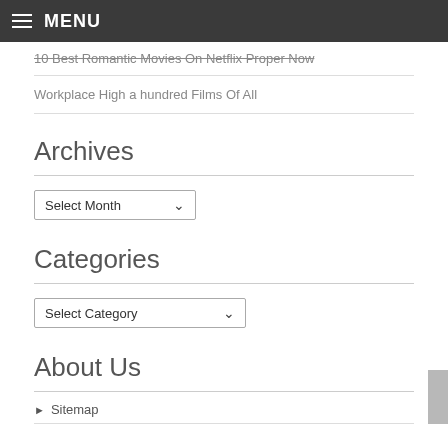MENU
10 Best Romantic Movies On Netflix Proper Now
Workplace High a hundred Films Of All
Archives
Select Month
Categories
Select Category
About Us
Sitemap